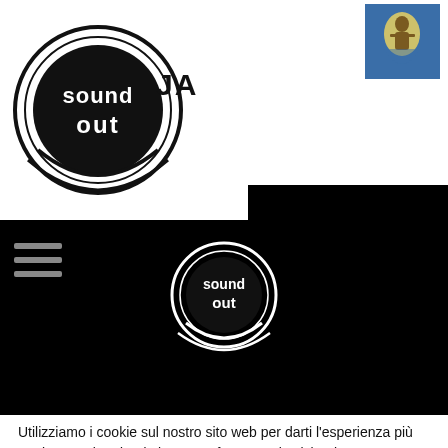[Figure (logo): SoundOut Jazz circular logo in black and white, top left]
[Figure (logo): Municipality/town coat of arms logo, top right, blue background with golden figure]
[Figure (logo): SoundOut circular logo centered on black navigation bar]
Utilizziamo i cookie sul nostro sito web per darti l'esperienza più pertinente, ricordando le tue preferenze e le visite ripetute. Cliccando su "Accetta tutto", acconsenti all'uso di TUTTI i cookie. Tuttavia, è possibile visitare "Cookie Settings" per fornire un consenso controllato.
Rifiuta tutto
Impostazioni dei cookie
Accetta tutti